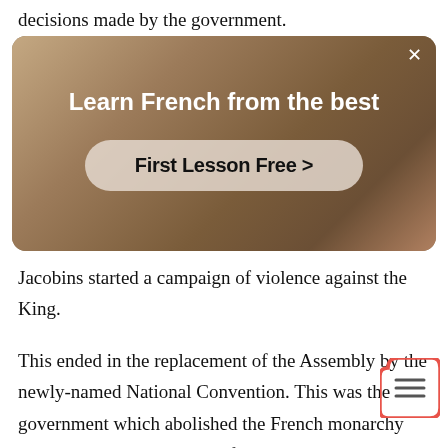decisions made by the government.
[Figure (screenshot): Advertisement banner with a blurred photo background of a person in a room. White bold text reads 'Learn French from the best' and a rounded pill button reads 'First Lesson Free >']
Jacobins started a campaign of violence against the King.
This ended in the replacement of the Assembly by the newly-named National Convention. This was the government which abolished the French monarchy and ordered the execution of King XVI and Marie-Antoinette, his wife in 1793.